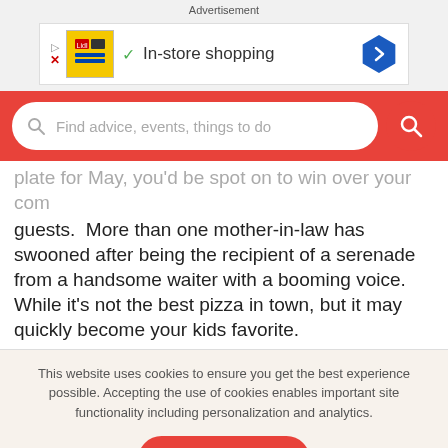Advertisement
[Figure (screenshot): Advertisement banner for Lidl showing 'In-store shopping' with a checkmark icon and blue diamond arrow button]
[Figure (screenshot): Red search bar with magnifying glass icon and placeholder text 'Find advice, events, things to do' with red circular search button]
plate for May, you'd be spot on to win over your com guests. More than one mother-in-law has swooned after being the recipient of a serenade from a handsome waiter with a booming voice. While it's not the best pizza in town, but it may quickly become your kids favorite.
This website uses cookies to ensure you get the best experience possible. Accepting the use of cookies enables important site functionality including personalization and analytics.
Accept
Decline